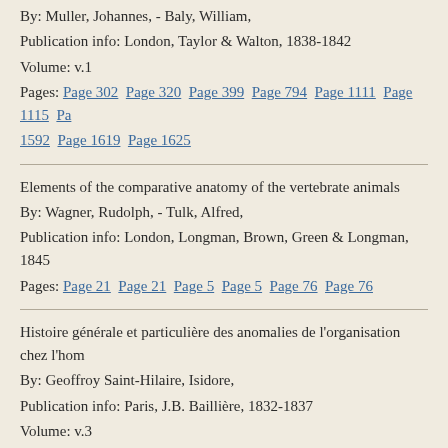By: Muller, Johannes, - Baly, William,
Publication info: London, Taylor & Walton, 1838-1842
Volume: v.1
Pages: Page 302  Page 320  Page 399  Page 794  Page 1111  Page 1115  Page 1592  Page 1619  Page 1625
Elements of the comparative anatomy of the vertebrate animals
By: Wagner, Rudolph, - Tulk, Alfred,
Publication info: London, Longman, Brown, Green & Longman, 1845
Pages: Page 21  Page 21  Page 5  Page 5  Page 76  Page 76
Histoire générale et particulière des anomalies de l'organisation chez l'homme
By: Geoffroy Saint-Hilaire, Isidore,
Publication info: Paris, J.B. Baillière, 1832-1837
Volume: v.3
Pages: Page 604
In Sachan Darwin's inbesondere contra Wigand,